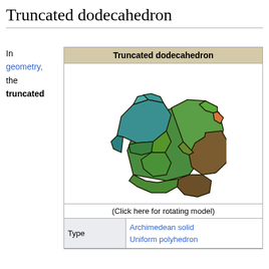Truncated dodecahedron
In geometry, the truncated
[Figure (illustration): 3D rendering of a truncated dodecahedron showing green and brown faces with dark outlines, displayed as an Archimedean solid]
(Click here for rotating model)
| Type |  |
| --- | --- |
| Type | Archimedean solid
Uniform polyhedron |